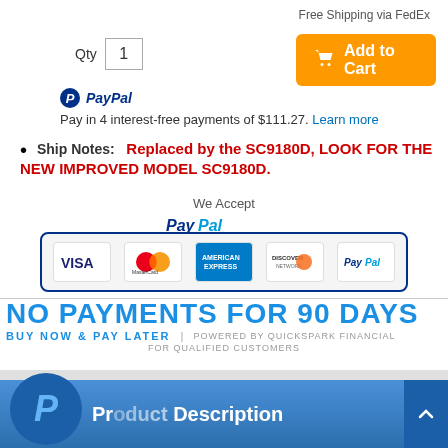Free Shipping via FedEx
Qty 1
Add to Cart
PayPal Pay in 4 interest-free payments of $111.27. Learn more
Ship Notes: Replaced by the SC9180D, LOOK FOR THE NEW IMPROVED MODEL SC9180D.
[Figure (logo): Payment methods logo block: PayPal header with Visa, MasterCard, American Express, Discover, PayPal card icons]
[Figure (infographic): NO PAYMENTS FOR 90 DAYS - BUY NOW & PAY LATER | POWERED BY QUICKSPARK FINANCIAL - FOR QUALIFIED CUSTOMERS]
Product Description